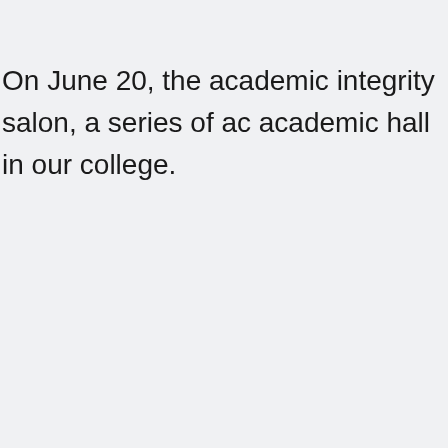On June 20, the academic integrity salon, a series of ac academic hall in our college.